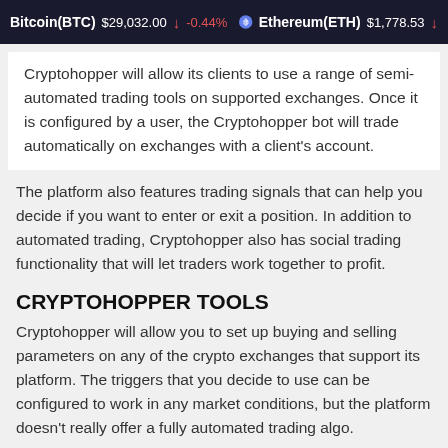Bitcoin(BTC) $29,032.00 ↓ -0.44%   Ethereum(ETH) $1,778.53 ↓
Cryptohopper will allow its clients to use a range of semi-automated trading tools on supported exchanges. Once it is configured by a user, the Cryptohopper bot will trade automatically on exchanges with a client's account.
The platform also features trading signals that can help you decide if you want to enter or exit a position. In addition to automated trading, Cryptohopper also has social trading functionality that will let traders work together to profit.
CRYPTOHOPPER TOOLS
Cryptohopper will allow you to set up buying and selling parameters on any of the crypto exchanges that support its platform. The triggers that you decide to use can be configured to work in any market conditions, but the platform doesn't really offer a fully automated trading algo.